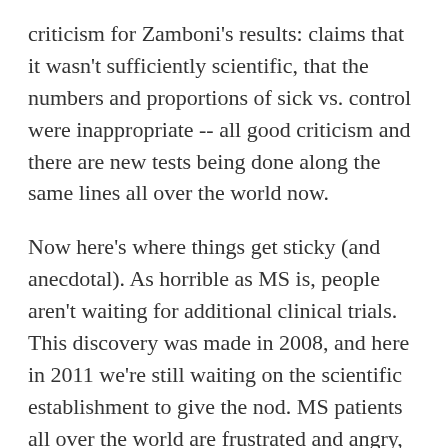criticism for Zamboni's results: claims that it wasn't sufficiently scientific, that the numbers and proportions of sick vs. control were inappropriate -- all good criticism and there are new tests being done along the same lines all over the world now.
Now here's where things get sticky (and anecdotal). As horrible as MS is, people aren't waiting for additional clinical trials. This discovery was made in 2008, and here in 2011 we're still waiting on the scientific establishment to give the nod. MS patients all over the world are frustrated and angry, and a lot of them have been getting the treatment anyway -- with amazing results.
As my family is directly affected by MS, we've been following this "Liberation" or treatment for some time now. Canadians can't get it here, as it's still not a